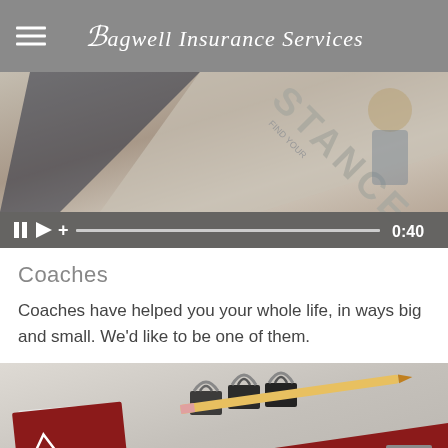Bagwell Insurance Services
[Figure (screenshot): Video player showing animated illustration with text 'FIND YOUR STANCE', video controls showing pause, play, volume, progress bar, and timestamp 0:40]
Coaches
Coaches have helped you your whole life, in ways big and small. We'd like to be one of them.
[Figure (photo): Photo of red branded materials with logo triangle icon, binder clips and pencil on gray surface, with red angled card showing 'nts' text and a scroll-to-top button]